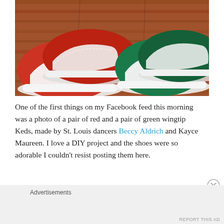[Figure (photo): A photograph of two pairs of decorated canvas sneakers (wingtip-style Keds) placed on a wooden floor. The left pair is red and white, and the right pair is green and white, both with dotted brogue patterns.]
One of the first things on my Facebook feed this morning was a photo of a pair of red and a pair of green wingtip Keds, made by St. Louis dancers Beccy Aldrich and Kayce Maureen. I love a DIY project and the shoes were so adorable I couldn't resist posting them here.
Advertisements